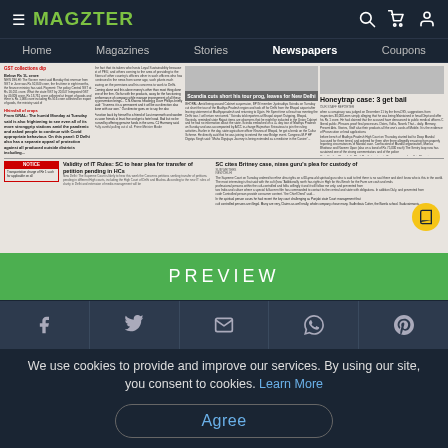MAGZTER
Home  Magazines  Stories  Newspapers  Coupons
[Figure (screenshot): Newspaper front page preview showing multiple headlines including 'Scandia cuts short his tour prog, leaves for New Delhi', 'Honeytrap case: 3 get bail', 'Validity of IT Rules: SC to hear plea for transfer of petition pending in HCs', 'SC cites Britney case, nixes guru's plea for custody of...']
PREVIEW
[Figure (infographic): Social share icons row: Facebook, Twitter, Email, WhatsApp, Pinterest]
We use cookies to provide and improve our services. By using our site, you consent to cookies. Learn More
Agree